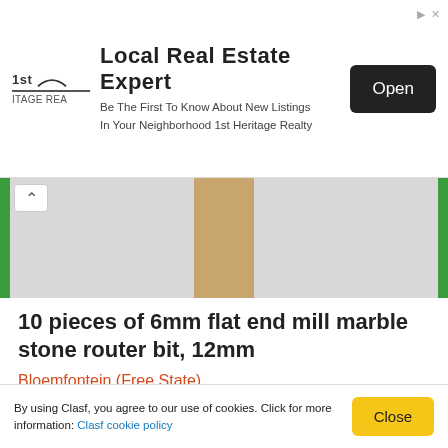[Figure (screenshot): Advertisement banner for 1st Heritage Realty - Local Real Estate Expert with Open button]
[Figure (photo): Product image strip showing 6mm flat end mill marble stone router bit with green side bars and brown/gold center piece]
10 pieces of 6mm flat end mill marble stone router bit, 12mm
Bloemfontein (Free State)
10 Pieces of 6mm Flat End Mill Marble Stone Router Bit, 12mm Medium Grit, Full Length 60mm (Gold Colour) SKU: TL-MF-S6T12-60 from Buythis.co.za Online Store Price: R588.28 excl. valid at 2021-09-07 https://buythis.co.za/tl-mf-s6t12-60 #
R 588
By using Clasf, you agree to our use of cookies. Click for more information: Clasf cookie policy